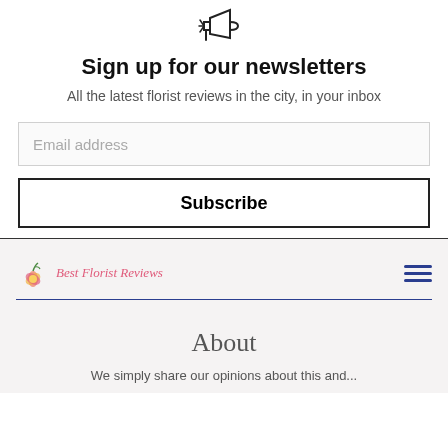[Figure (illustration): Megaphone/announcement icon at the top center]
Sign up for our newsletters
All the latest florist reviews in the city, in your inbox
Email address
Subscribe
[Figure (logo): Best Florist Reviews logo with flower icon and pink italic text]
[Figure (illustration): Hamburger menu icon (three blue horizontal lines)]
About
We simply share our opinions about this and...